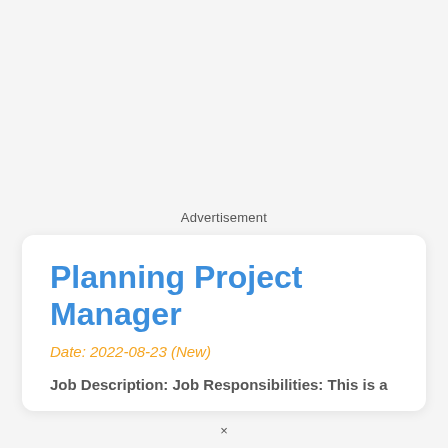Advertisement
Planning Project Manager
Date: 2022-08-23 (New)
Job Description: Job Responsibilities: This is a